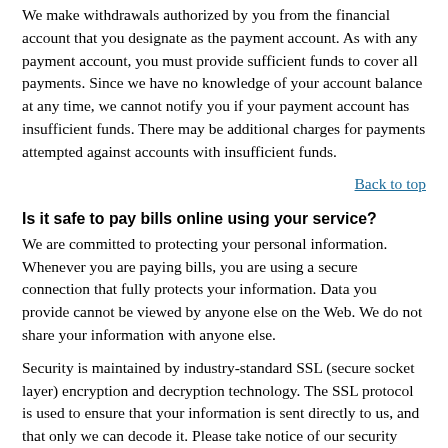We make withdrawals authorized by you from the financial account that you designate as the payment account. As with any payment account, you must provide sufficient funds to cover all payments. Since we have no knowledge of your account balance at any time, we cannot notify you if your payment account has insufficient funds. There may be additional charges for payments attempted against accounts with insufficient funds.
Back to top
Is it safe to pay bills online using your service?
We are committed to protecting your personal information. Whenever you are paying bills, you are using a secure connection that fully protects your information. Data you provide cannot be viewed by anyone else on the Web. We do not share your information with anyone else.
Security is maintained by industry-standard SSL (secure socket layer) encryption and decryption technology. The SSL protocol is used to ensure that your information is sent directly to us, and that only we can decode it. Please take notice of our security certificate listed on our online